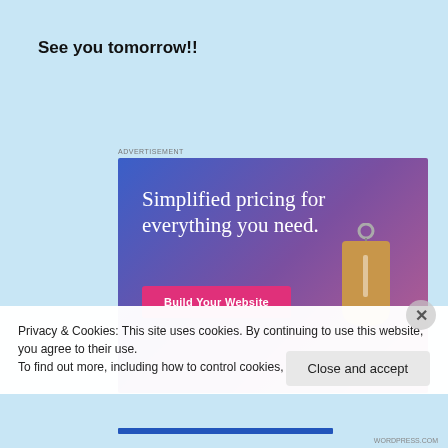See you tomorrow!!
[Figure (screenshot): Advertisement banner with blue-purple gradient background showing a price tag image and text 'Simplified pricing for everything you need.' with a pink 'Build Your Website' button.]
Privacy & Cookies: This site uses cookies. By continuing to use this website, you agree to their use.
To find out more, including how to control cookies, see here: Cookie Policy
Close and accept